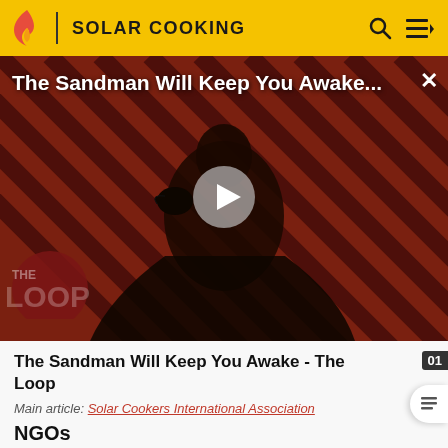SOLAR COOKING
[Figure (screenshot): Video thumbnail for 'The Sandman Will Keep You Awake' - The Loop, showing a dark figure in black on a red and black diagonal striped background with a play button overlay and The Loop logo watermark.]
The Sandman Will Keep You Awake - The Loop
Main article: Solar Cookers International Association
NGOs
El Fuego del Sol